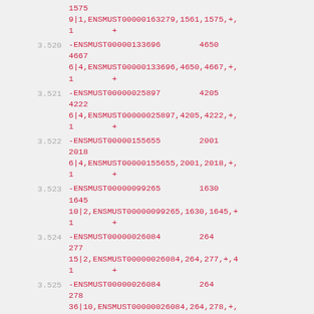1575
9|1,ENSMUST00000163279,1561,1575,+,
1        +
3.520  -ENSMUST00000133696        4650
4667
6|4,ENSMUST00000133696,4650,4667,+,
1        +
3.521  -ENSMUST00000025897        4205
4222
6|4,ENSMUST00000025897,4205,4222,+,
1        +
3.522  -ENSMUST00000155655        2001
2018
6|4,ENSMUST00000155655,2001,2018,+,
1        +
3.523  -ENSMUST00000099265        1630
1645
10|2,ENSMUST00000099265,1630,1645,+
1        +
3.524  -ENSMUST00000026084        264
277
15|2,ENSMUST00000026084,264,277,+,4
1        +
3.525  -ENSMUST00000026084        264
278
36|10,ENSMUST00000026084,264,278,+,
1        +
3.526  -ENSMUST00000026084        264
278
30|4,ENSMUST00000026084,264,278,+,3
1        +
3.527  -ENSMUST00000...